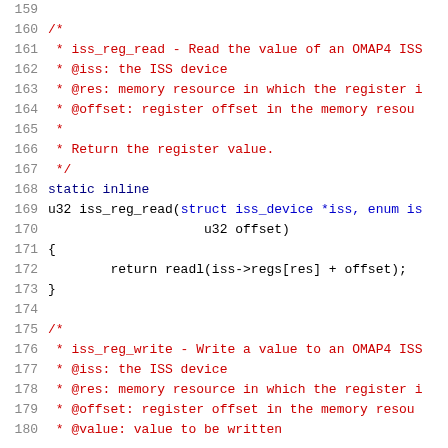Source code listing, lines 159–180, showing C functions iss_reg_read and iss_reg_write with documentation comments.